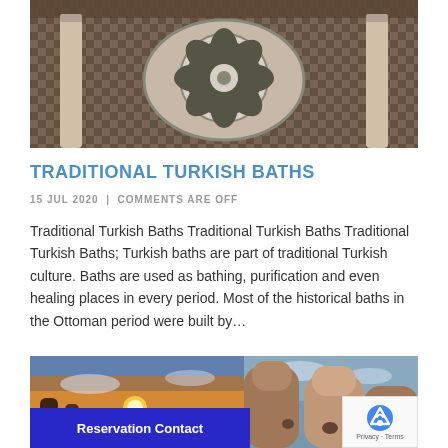[Figure (photo): Interior of a traditional Turkish bath (hamam) showing ornate marble floor with circular geometric mosaic pattern and decorative architectural elements]
TRADITIONAL TURKISH BATHS
15 JUL 2020  |  COMMENTS ARE OFF
Traditional Turkish Baths Traditional Turkish Baths Traditional Turkish Baths; Turkish baths are part of traditional Turkish culture. Baths are used as bathing, purification and even healing places in every period. Most of the historical baths in the Ottoman period were built by...
[Figure (photo): Two-part collage: left side shows a sunset over Cappadocia rock formations with warm golden light; right side shows tall fairy chimney rock formations against a blue sky]
Reservation Contact